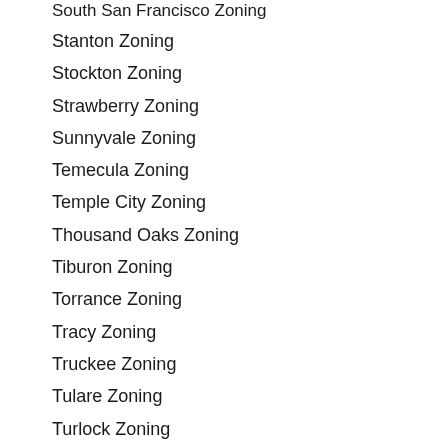South San Francisco Zoning
Stanton Zoning
Stockton Zoning
Strawberry Zoning
Sunnyvale Zoning
Temecula Zoning
Temple City Zoning
Thousand Oaks Zoning
Tiburon Zoning
Torrance Zoning
Tracy Zoning
Truckee Zoning
Tulare Zoning
Turlock Zoning
Tustin Zoning
Union City Zoning
Upland Zoning